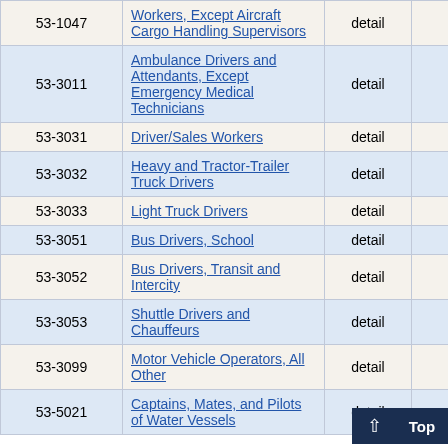| Code | Title | Level | Employment | Extra |
| --- | --- | --- | --- | --- |
| 53-1047 | Workers, Except Aircraft Cargo Handling Supervisors | detail | 1,790 | 4... |
| 53-3011 | Ambulance Drivers and Attendants, Except Emergency Medical Technicians | detail | 30 | 49... |
| 53-3031 | Driver/Sales Workers | detail | 1,040 | 23... |
| 53-3032 | Heavy and Tractor-Trailer Truck Drivers | detail | 4,800 | 3... |
| 53-3033 | Light Truck Drivers | detail | 3,670 | 4... |
| 53-3051 | Bus Drivers, School | detail | 2,780 | 3... |
| 53-3052 | Bus Drivers, Transit and Intercity | detail | 700 | 8... |
| 53-3053 | Shuttle Drivers and Chauffeurs | detail | 770 | 10... |
| 53-3099 | Motor Vehicle Operators, All Other | detail | 110 | 27... |
| 53-5021 | Captains, Mates, and Pilots of Water Vessels | detail | 4... |  |